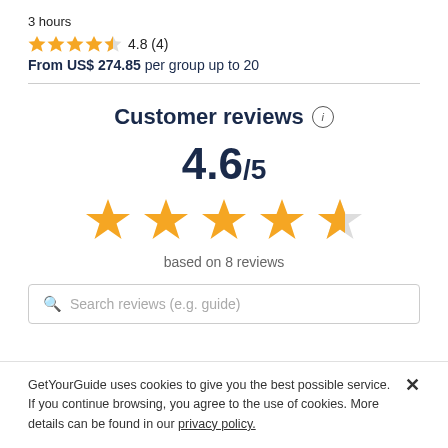3 hours
4.8 (4)
From US$ 274.85 per group up to 20
Customer reviews
4.6/5
[Figure (other): 4 full gold stars and 1 partial (about 60%) gold star representing a 4.6 out of 5 rating]
based on 8 reviews
Search reviews (e.g. guide)
GetYourGuide uses cookies to give you the best possible service. If you continue browsing, you agree to the use of cookies. More details can be found in our privacy policy.